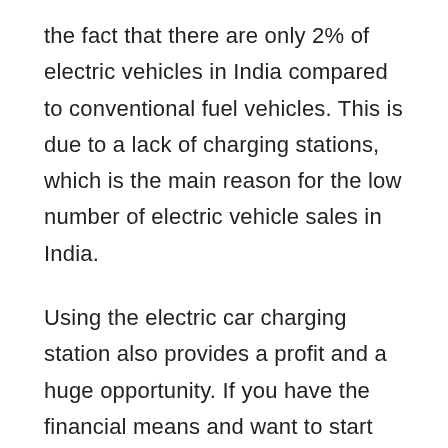the fact that there are only 2% of electric vehicles in India compared to conventional fuel vehicles. This is due to a lack of charging stations, which is the main reason for the low number of electric vehicle sales in India.
Using the electric car charging station also provides a profit and a huge opportunity. If you have the financial means and want to start your own business, now would be the moment to invest in the future by purchasing EV Charging Stations.